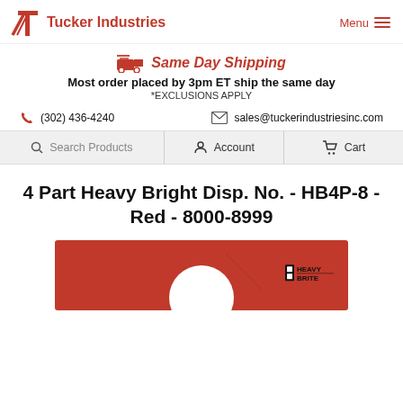Tucker Industries | Menu
Same Day Shipping
Most order placed by 3pm ET ship the same day
*EXCLUSIONS APPLY
(302) 436-4240   sales@tuckerindustriesinc.com
Search Products   Account   Cart
4 Part Heavy Bright Disp. No. - HB4P-8 - Red - 8000-8999
[Figure (photo): Red product tag/label with a circular hole punch, Heavy Brite logo visible in bottom right corner]